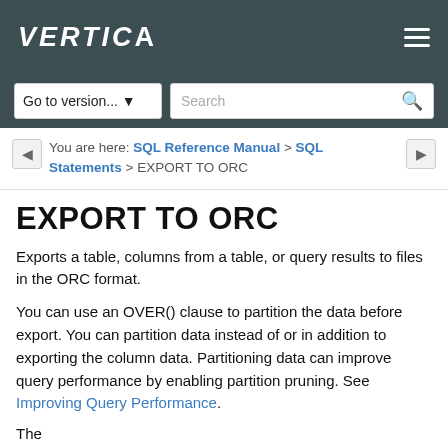VERTICA
Go to version... | Search
You are here: SQL Reference Manual > SQL Statements > EXPORT TO ORC
EXPORT TO ORC
Exports a table, columns from a table, or query results to files in the ORC format.
You can use an OVER() clause to partition the data before export. You can partition data instead of or in addition to exporting the column data. Partitioning data can improve query performance by enabling partition pruning. See Improving Query Performance.
The...